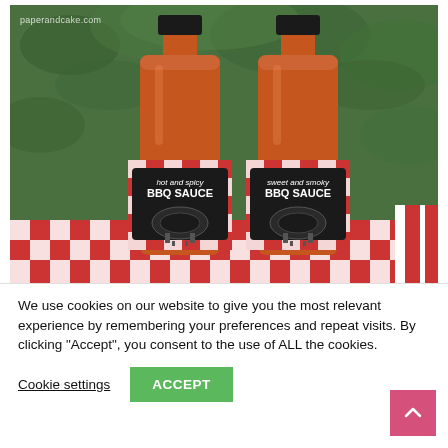[Figure (photo): Two BBQ sauce bottles with red and white checkered labels. Left bottle labeled 'hot and spicy BBQ SAUCE', right bottle labeled 'sweet and smoky BBQ SAUCE'. Watermark 'paperandcake.com' in top left. Background is green foliage.]
We use cookies on our website to give you the most relevant experience by remembering your preferences and repeat visits. By clicking “Accept”, you consent to the use of ALL the cookies.
Cookie settings
ACCEPT